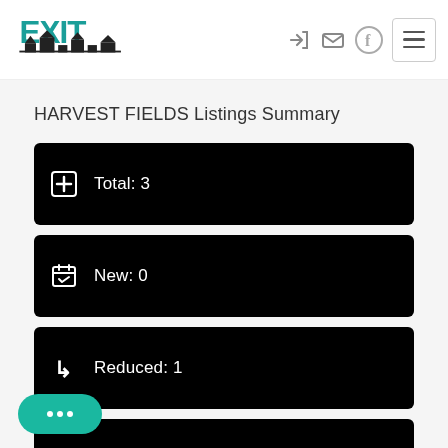[Figure (logo): EXIT Realty logo in teal and black with building silhouette]
HARVEST FIELDS Listings Summary
Total: 3
New: 0
Reduced: 1
Open House: 0